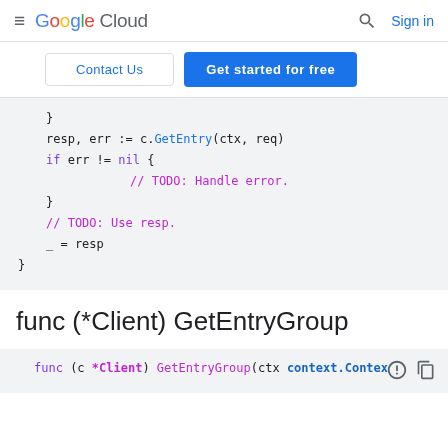Google Cloud  [search icon]  Sign in
Contact Us  |  Get started for free
[Figure (screenshot): Code block showing Go code: } resp, err := c.GetEntry(ctx, req) if err != nil { // TODO: Handle error. } // TODO: Use resp. _ = resp }]
func (*Client) GetEntryGroup
[Figure (screenshot): Code block showing Go code: func (c *Client) GetEntryGroup(ctx context.Contex]